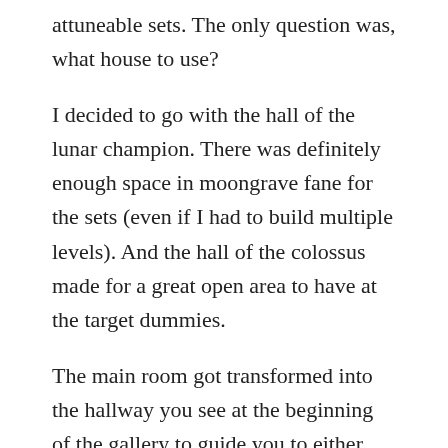attuneable sets. The only question was, what house to use?
I decided to go with the hall of the lunar champion. There was definitely enough space in moongrave fane for the sets (even if I had to build multiple levels). And the hall of the colossus made for a great open area to have at the target dummies.
The main room got transformed into the hallway you see at the beginning of the gallery to guide you to either entrance, and now thanks to character pathing, it even